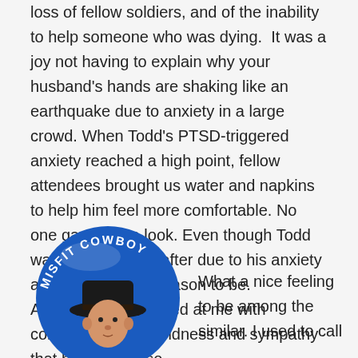loss of fellow soldiers, and of the inability to help someone who was dying. It was a joy not having to explain why your husband's hands are shaking like an earthquake due to anxiety in a large crowd. When Todd's PTSD-triggered anxiety reached a high point, fellow attendees brought us water and napkins to help him feel more comfortable. No one gave him a look. Even though Todd was embarrassed after due to his anxiety attack, he had no reason to be. All of the wives looked at me with compassion and kindness and sympathy that he suffered so.
[Figure (illustration): A circular badge/button with a blue background showing a cartoon cowboy character and the text 'MISFIT COWBOY' in white letters around the top.]
What a nice feeling to be among the similar. I used to call